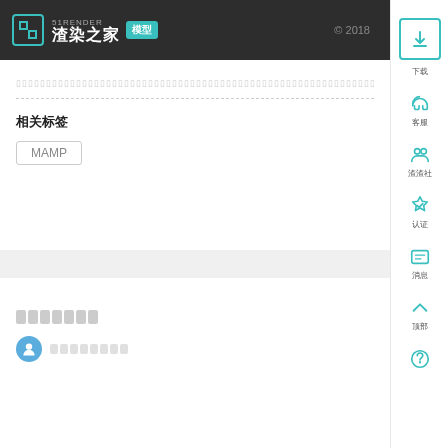51RENDER 渣染之家 模型
（placeholder text blocks）
相关标签
MAMP
（comment section title – placeholder blocks）
（user name – placeholder blocks）